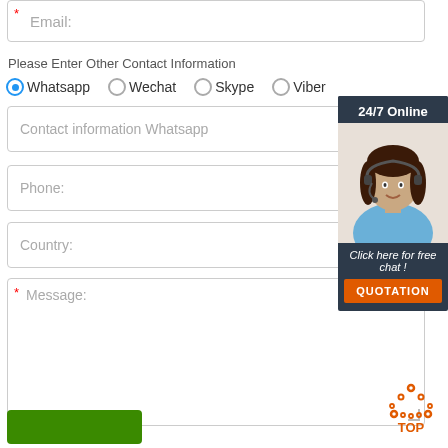* Email:
Please Enter Other Contact Information
Whatsapp  Wechat  Skype  Viber
Contact information Whatsapp
Phone:
Country:
* Message:
[Figure (photo): Customer service representative with headset, 24/7 Online chat widget with QUOTATION button]
[Figure (infographic): Orange TOP button with dotted triangle arrow pointing up]